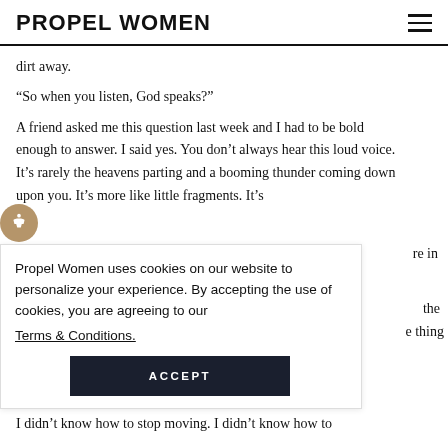PROPEL WOMEN
dirt away.
“So when you listen, God speaks?”
A friend asked me this question last week and I had to be bold enough to answer. I said yes. You don’t always hear this loud voice. It’s rarely the heavens parting and a booming thunder coming down upon you. It’s more like little fragments. It’s
Propel Women uses cookies on our website to personalize your experience. By accepting the use of cookies, you are agreeing to our Terms & Conditions.
ACCEPT
I didn’t know how to stop moving. I didn’t know how to